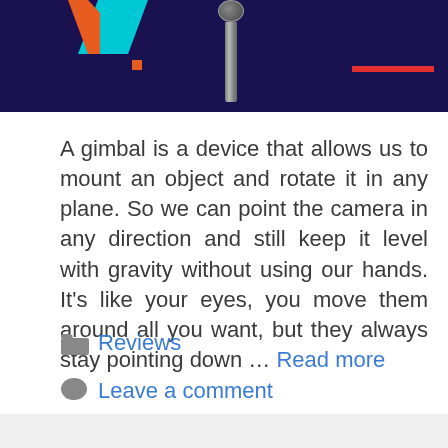[Figure (photo): Dark navy blue banner with orange and cyan geometric shapes, a metal bolt/screw in the center, an orange dot, and red/orange decorative bars.]
A gimbal is a device that allows us to mount an object and rotate it in any plane. So we can point the camera in any direction and still keep it level with gravity without using our hands. It’s like your eyes, you move them around all you want, but they always stay pointing down … Read more
Reviews
Leave a comment